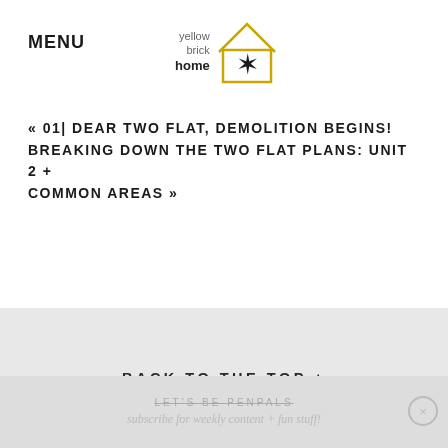MENU
[Figure (logo): Yellow Brick Home logo with house icon and star]
« 01| DEAR TWO FLAT, DEMOLITION BEGINS! BREAKING DOWN THE TWO FLAT PLANS: UNIT 2 + COMMON AREAS »
BACK TO THE TOP +
LET'S BE PENPALS
subscribe for weekly content + fun stuff!